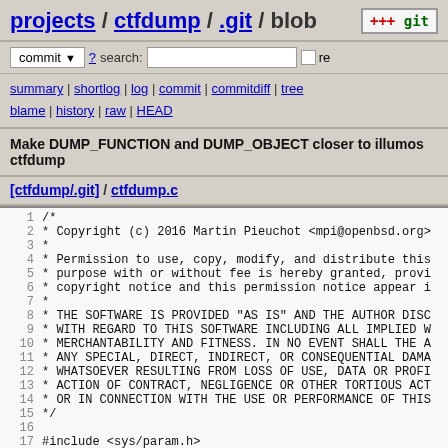projects / ctfdump / .git / blob
commit  ?  search:   re
summary | shortlog | log | commit | commitdiff | tree blame | history | raw | HEAD
Make DUMP_FUNCTION and DUMP_OBJECT closer to illumos ctfdump
[ctfdump/.git] / ctfdump.c
[Figure (screenshot): Source code viewer showing lines 1-18 of ctfdump.c with copyright header comment]
1 /*
2  * Copyright (c) 2016 Martin Pieuchot <mpi@openbsd.org>
3  *
4  * Permission to use, copy, modify, and distribute this
5  * purpose with or without fee is hereby granted, provi
6  * copyright notice and this permission notice appear i
7  *
8  * THE SOFTWARE IS PROVIDED "AS IS" AND THE AUTHOR DISC
9  * WITH REGARD TO THIS SOFTWARE INCLUDING ALL IMPLIED W
10  * MERCHANTABILITY AND FITNESS. IN NO EVENT SHALL THE A
11  * ANY SPECIAL, DIRECT, INDIRECT, OR CONSEQUENTIAL DAMA
12  * WHATSOEVER RESULTING FROM LOSS OF USE, DATA OR PROFI
13  * ACTION OF CONTRACT, NEGLIGENCE OR OTHER TORTIOUS ACT
14  * OR IN CONNECTION WITH THE USE OR PERFORMANCE OF THIS
15  */
16
17 #include <sys/param.h>
18 #include <sys/types.h>